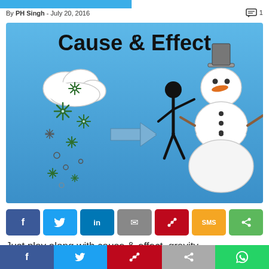By PH Singh - July 20, 2016
[Figure (illustration): Cause & Effect educational illustration on blue background showing a snow cloud with falling snowflakes on the left, an arrow pointing right in the center, and a stick figure placing a carrot nose on a snowman wearing a top hat on the right. Title text 'Cause & Effect' at top.]
[Figure (infographic): Social share buttons row: Facebook (blue), Twitter (light blue), LinkedIn (dark blue), Email (gray), Pinterest (red), SMS (yellow/orange), Share (green)]
Just play along with cause & effect, gravity
f  Twitter  Pinterest  Share  WhatsApp